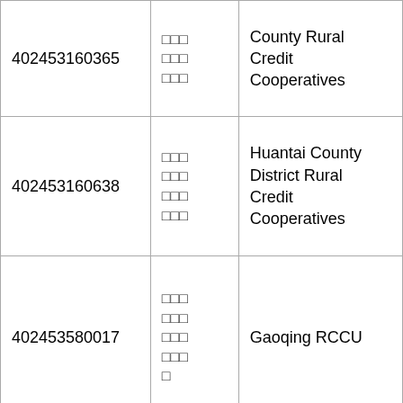| 402453160365 | □□□
□□□
□□□ | County Rural Credit Cooperatives |
| 402453160638 | □□□
□□□
□□□
□□□ | Huantai County District Rural Credit Cooperatives |
| 402453580017 | □□□
□□□
□□□
□□□
□ | Gaoqing RCCU |
| 402453580025 | □□□
□□□
□□□
□□□ | Gaoqing franca RCC |